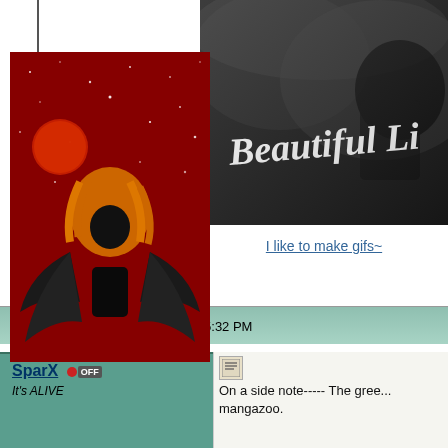[Figure (illustration): Black and white banner image with cursive text reading 'Beautiful Li...' and a person in the background]
I like to make gifs~
Posted 02-19-2016, 05:32 PM
SparX  OFF
It's ALIVE
[Figure (illustration): Digital artwork of a character with orange hair and dark wings against a red starry sky background]
On a side note----- The gree... mangazoo.